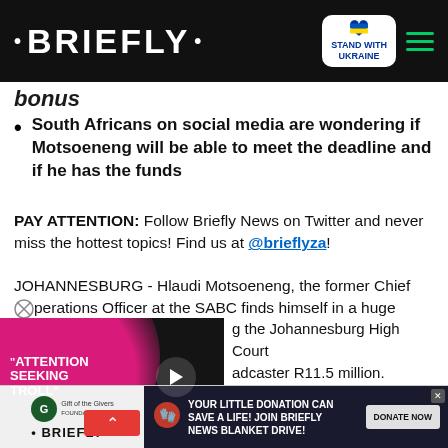• BRIEFLY •
bonus
South Africans on social media are wondering if Motsoeneng will be able to meet the deadline and if he has the funds
PAY ATTENTION: Follow Briefly News on Twitter and never miss the hottest topics! Find us at @brieflyza!
JOHANNESBURG - Hlaudi Motsoeneng, the former Chief Operations Officer at the SABC finds himself in a huge financial predicament following the Johannesburg High Court ordering him to repay the broadcaster R11.5 million.
[Figure (screenshot): Video thumbnail with woman, pink blob graphic, 'ATTENTION SEEKING TROLL' text overlay and play button]
has only been given 7 days to which was paid to him as a
[Figure (infographic): Ad banner: Gift of the Givers and Briefly logo with 'Your little donation can save a life! Join Briefly News Blanket Drive! Donate Now' call to action]